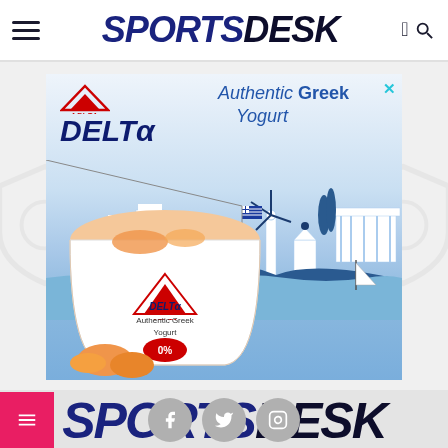SPORTSDESK
[Figure (photo): Delta Authentic Greek Yogurt advertisement banner featuring a yogurt cup with peach/orange flavor against a blue Greek seaside landscape background with white buildings, windmill and temple silhouettes]
SPORTSDESK